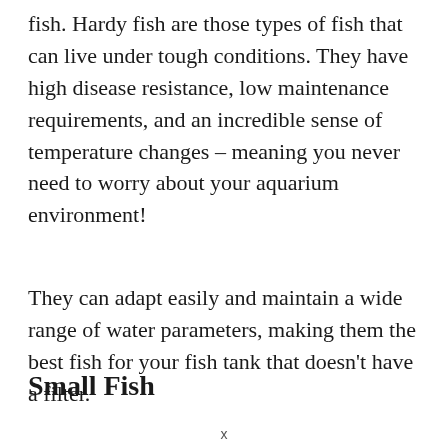fish. Hardy fish are those types of fish that can live under tough conditions. They have high disease resistance, low maintenance requirements, and an incredible sense of temperature changes – meaning you never need to worry about your aquarium environment!
They can adapt easily and maintain a wide range of water parameters, making them the best fish for your fish tank that doesn't have a filter.
Small Fish